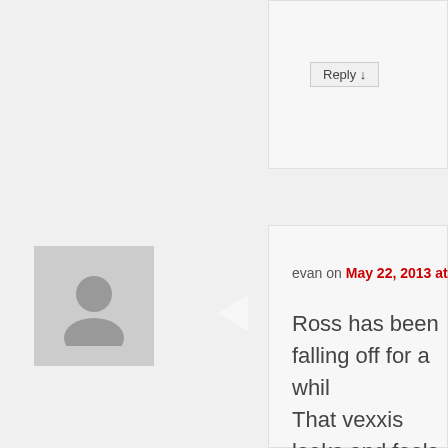Reply ↓
evan on May 22, 2013 at 12:27 pm said:
Ross has been falling off for a while. That vexxis looks and feels like cra as for orvis rods and reels.. blehh. the budget you have it shouldn't be difficult to produce products that pe WANT to use.

I was interested in a orvs helios io reno nevada store. It was a 1wt. fo wasn't worth it, but the lady workin